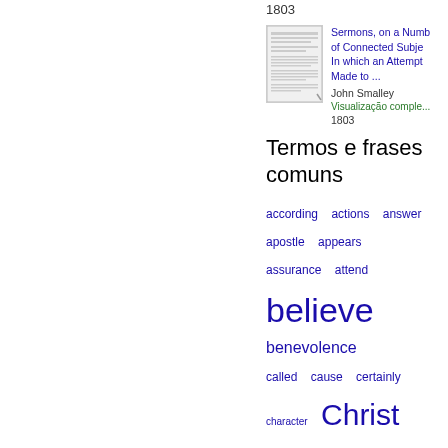1803
[Figure (illustration): Thumbnail of a book cover/page for 'Sermons, on a Number of Connected Subjects']
Sermons, on a Number of Connected Subjects In which an Attempt Made to ...
John Smalley
Visualização comple...
1803
Termos e frases comuns
according
actions
answer
apostle
appears
assurance
attend
believe
benevolence
called
cause
certainly
character
Christ
christians
commandment
common
concerning
condemnation
consider